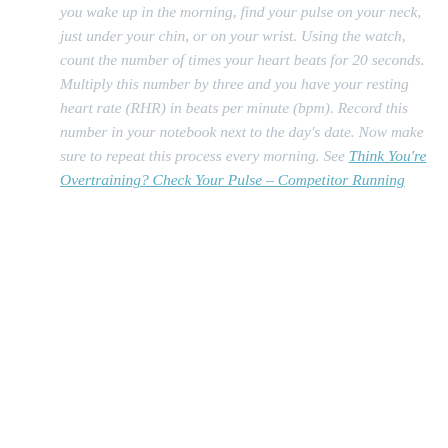you wake up in the morning, find your pulse on your neck, just under your chin, or on your wrist. Using the watch, count the number of times your heart beats for 20 seconds. Multiply this number by three and you have your resting heart rate (RHR) in beats per minute (bpm). Record this number in your notebook next to the day's date. Now make sure to repeat this process every morning. See Think You're Overtraining? Check Your Pulse – Competitor Running